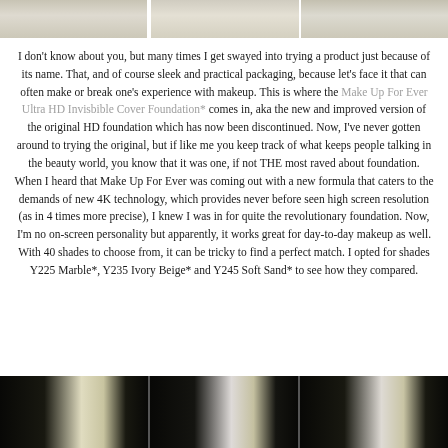[Figure (photo): Top portion of three makeup foundation bottles, cropped at the top of the page]
I don't know about you, but many times I get swayed into trying a product just because of its name. That, and of course sleek and practical packaging, because let's face it that can often make or break one's experience with makeup. This is where the Make Up For Ever Ultra HD Invisbible Cover Foundation* comes in, aka the new and improved version of the original HD foundation which has now been discontinued. Now, I've never gotten around to trying the original, but if like me you keep track of what keeps people talking in the beauty world, you know that it was one, if not THE most raved about foundation. When I heard that Make Up For Ever was coming out with a new formula that caters to the demands of new 4K technology, which provides never before seen high screen resolution (as in 4 times more precise), I knew I was in for quite the revolutionary foundation. Now, I'm no on-screen personality but apparently, it works great for day-to-day makeup as well. With 40 shades to choose from, it can be tricky to find a perfect match. I opted for shades Y225 Marble*, Y235 Ivory Beige* and Y245 Soft Sand* to see how they compared.
[Figure (photo): Bottom portion showing three makeup foundation bottles, dark packaging with light beige/cream colored caps, cropped at the bottom of the page]